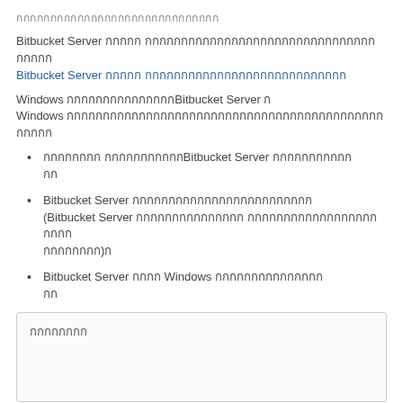กกกกกกกกกกกกกกกกกกกกกกกกกกกกกกก
Bitbucket Server กกกกก กกกกกกกกกกกกกกกกกกกกกกกกกกกกกกก Bitbucket Server กกกกก กกกกกกกกกกกกกกกกกกกกกกกก
Windows กกกกกกกกกกกกกกกBitbucket Server ก Windows กกกกกกกกกกกกกกกกกกกกกกกกกกกกกกกกกกกกกกกกกกกกก
กกกกกกกก กกกกกกกกกกกBitbucket Server กกกกกกกกกกก กก
Bitbucket Server กกกกกกกกกกกกกกกกกกกกกกกกก (Bitbucket Server กกกกกกกกกกกกกกก กกกกกกกกกกกกกกกกกกกกกก)ก
Bitbucket Server กกกก Windows กกกกกกกกกกกกกกก กก
กกกกกกกก
กกกกก